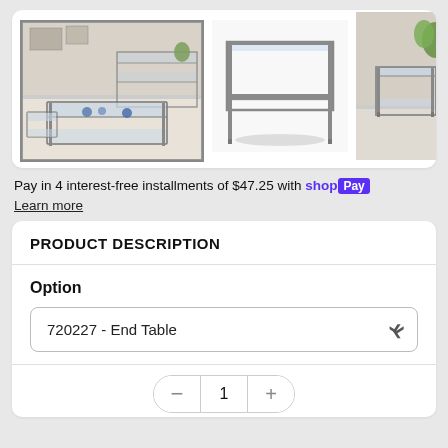[Figure (photo): Three product photos of glass and metal end tables and coffee table set. Left image shows room scene with full set. Middle image shows a single end table with glass top and metal frame. Right image shows end table from a different angle in room setting.]
Pay in 4 interest-free installments of $47.25 with shopPay
Learn more
PRODUCT DESCRIPTION
Option
720227 - End Table